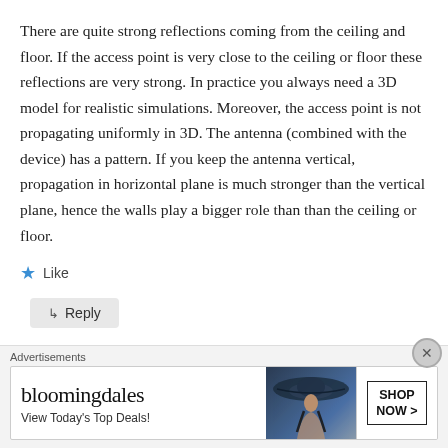There are quite strong reflections coming from the ceiling and floor. If the access point is very close to the ceiling or floor these reflections are very strong. In practice you always need a 3D model for realistic simulations. Moreover, the access point is not propagating uniformly in 3D. The antenna (combined with the device) has a pattern. If you keep the antenna vertical, propagation in horizontal plane is much stronger than the vertical plane, hence the walls play a bigger role than than the ceiling or floor.
★ Like
↳ Reply
Advertisements
[Figure (other): Bloomingdale's advertisement banner with logo, 'View Today's Top Deals!' text, woman with large hat image, and 'SHOP NOW >' button]